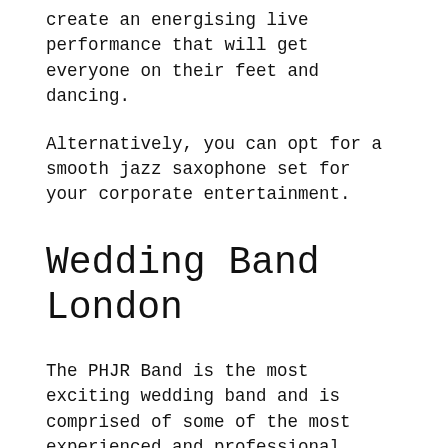create an energising live performance that will get everyone on their feet and dancing.
Alternatively, you can opt for a smooth jazz saxophone set for your corporate entertainment.
Wedding Band London
The PHJR Band is the most exciting wedding band and is comprised of some of the most experienced and professional musicians in the live entertainment sector.
A group of artists that all had success in their solo careers combine together to create a wedding band that performs at weddings all over the world. The PHJR band…